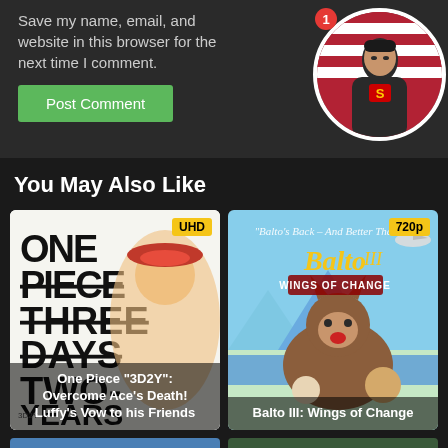Save my name, email, and website in this browser for the next time I comment.
Post Comment
[Figure (photo): Circular avatar photo of a man in a Superman costume, with a red notification badge showing '1' in the top-left corner.]
You May Also Like
[Figure (photo): Movie poster for One Piece Three Days Two Years (3D2Y) with UHD badge. Title card at bottom reads: One Piece "3D2Y": Overcome Ace's Death! Luffy's Vow to his Friends]
One Piece “3D2Y”: Overcome Ace’s Death! Luffy’s Vow to his Friends
[Figure (photo): Movie poster for Balto III: Wings of Change with 720p badge. Title card at bottom reads: Balto III: Wings of Change]
Balto III: Wings of Change